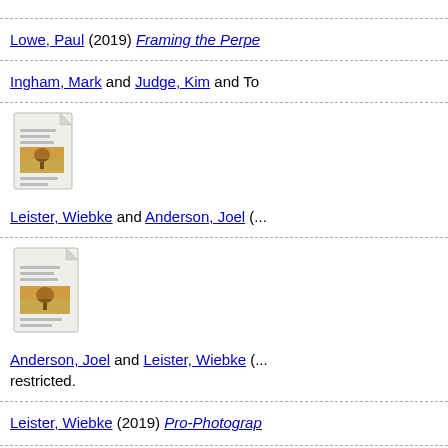Lowe, Paul (2019) Framing the Perpe...
Ingham, Mark and Judge, Kim and To...
[Figure (illustration): Document thumbnail icon with a landscape image]
Leister, Wiebke and Anderson, Joel (...
[Figure (illustration): Document thumbnail icon with a landscape image]
Anderson, Joel and Leister, Wiebke (... restricted.
Leister, Wiebke (2019) Pro-Photograp...